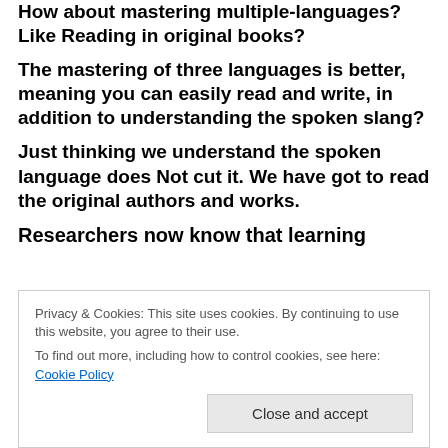How about mastering multiple-languages? Like Reading in original books?
The mastering of three languages is better, meaning you can easily read and write, in addition to understanding the spoken slang?
Just thinking we understand the spoken language does Not cut it. We have got to read the original authors and works.
Researchers now know that learning
Privacy & Cookies: This site uses cookies. By continuing to use this website, you agree to their use.
To find out more, including how to control cookies, see here: Cookie Policy
Believe it or not, before the 1960s, researchers thought